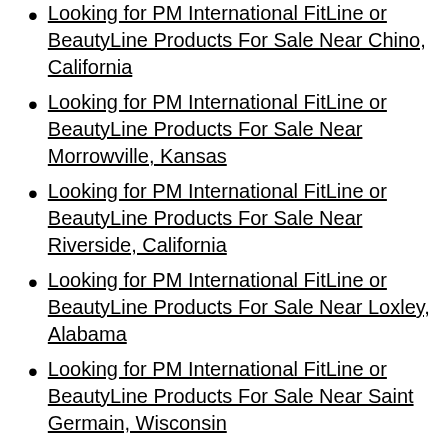Looking for PM International FitLine or BeautyLine Products For Sale Near Chino, California
Looking for PM International FitLine or BeautyLine Products For Sale Near Morrowville, Kansas
Looking for PM International FitLine or BeautyLine Products For Sale Near Riverside, California
Looking for PM International FitLine or BeautyLine Products For Sale Near Loxley, Alabama
Looking for PM International FitLine or BeautyLine Products For Sale Near Saint Germain, Wisconsin
Looking for PM International FitLine or BeautyLine Products For Sale Near Rio Oso, California
Looking for PM International FitLine or BeautyLine Products For Sale Near Bryant, Wisconsin
Looking for PM International FitLine or BeautyLine Products For Sale Near Oracle, Arizona
Looking for PM International FitLine or BeautyLine Products For Sale Near Nikiski, Alaska
Looking for PM International FitLine or BeautyLine Products For Sale Near ...